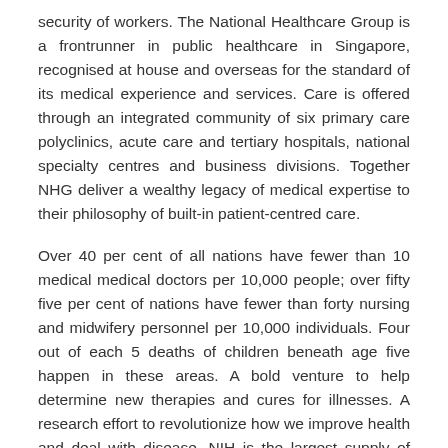security of workers. The National Healthcare Group is a frontrunner in public healthcare in Singapore, recognised at house and overseas for the standard of its medical experience and services. Care is offered through an integrated community of six primary care polyclinics, acute care and tertiary hospitals, national specialty centres and business divisions. Together NHG deliver a wealthy legacy of medical expertise to their philosophy of built-in patient-centred care.
Over 40 per cent of all nations have fewer than 10 medical medical doctors per 10,000 people; over fifty five per cent of nations have fewer than forty nursing and midwifery personnel per 10,000 individuals. Four out of each 5 deaths of children beneath age five happen in these areas. A bold venture to help determine new therapies and cures for illnesses. A research effort to revolutionize how we improve health and deal with disease. NIH is the largest supply of funding for medical